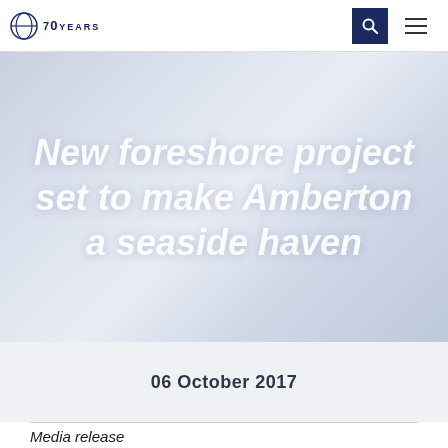70 Years [logo]
New foreshore project set to make Amberton a seaside haven
06 October 2017
Media release